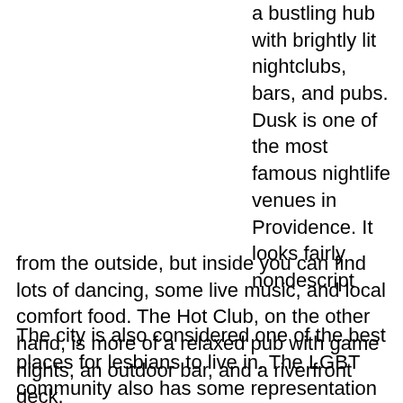a bustling hub with brightly lit nightclubs, bars, and pubs. Dusk is one of the most famous nightlife venues in Providence. It looks fairly nondescript from the outside, but inside you can find lots of dancing, some live music, and local comfort food. The Hot Club, on the other hand, is more of a relaxed pub with game nights, an outdoor bar, and a riverfront deck.
The city is also considered one of the best places for lesbians to live in. The LGBT community also has some representation in politics with former mayor David Cicilline running for office as an openly gay man.